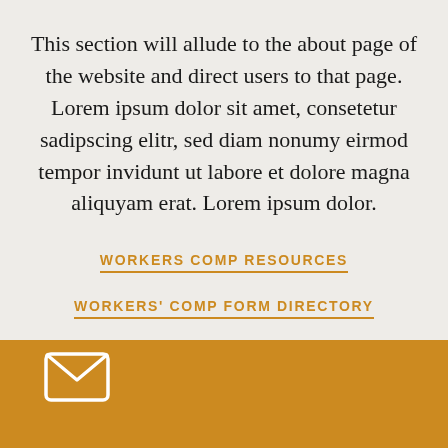This section will allude to the about page of the website and direct users to that page. Lorem ipsum dolor sit amet, consetetur sadipscing elitr, sed diam nonumy eirmod tempor invidunt ut labore et dolore magna aliquyam erat. Lorem ipsum dolor.
WORKERS COMP RESOURCES
WORKERS' COMP FORM DIRECTORY
[Figure (illustration): Envelope/mail icon in white on orange background, bottom left corner]